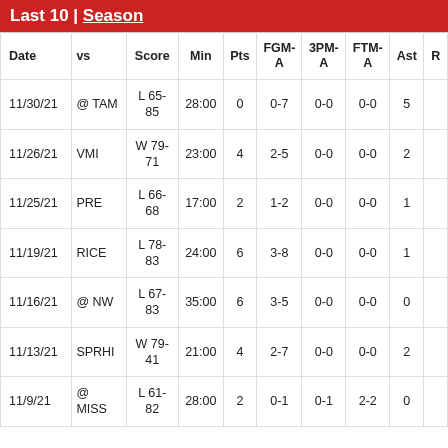Last 10 | Season
| Date | vs | Score | Min | Pts | FGM-A | 3PM-A | FTM-A | Ast | R |
| --- | --- | --- | --- | --- | --- | --- | --- | --- | --- |
| 11/30/21 | @ TAM | L 65-85 | 28:00 | 0 | 0-7 | 0-0 | 0-0 | 5 |  |
| 11/26/21 | VMI | W 79-71 | 23:00 | 4 | 2-5 | 0-0 | 0-0 | 2 |  |
| 11/25/21 | PRE | L 66-68 | 17:00 | 2 | 1-2 | 0-0 | 0-0 | 1 |  |
| 11/19/21 | RICE | L 78-83 | 24:00 | 6 | 3-8 | 0-0 | 0-0 | 1 |  |
| 11/16/21 | @ NW | L 67-83 | 35:00 | 6 | 3-5 | 0-0 | 0-0 | 0 |  |
| 11/13/21 | SPRHI | W 79-41 | 21:00 | 4 | 2-7 | 0-0 | 0-0 | 2 |  |
| 11/9/21 | @ MISS | L 61-82 | 28:00 | 2 | 0-1 | 0-1 | 2-2 | 0 |  |